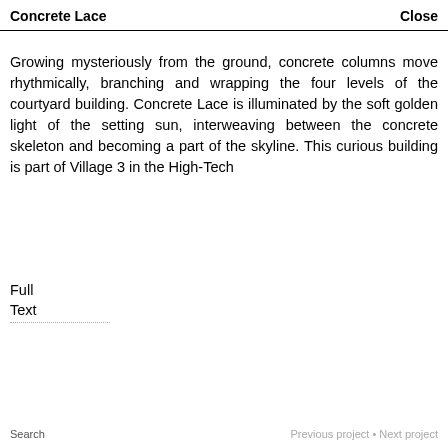Concrete Lace    Close
Growing mysteriously from the ground, concrete columns move rhythmically, branching and wrapping the four levels of the courtyard building. Concrete Lace is illuminated by the soft golden light of the setting sun, interweaving between the concrete skeleton and becoming a part of the skyline. This curious building is part of Village 3 in the High-Tech
Full
Text
Search    Previous project • Next project